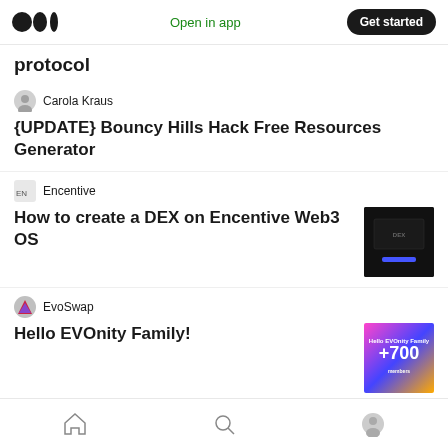Open in app | Get started
protocol
Carola Kraus
{UPDATE} Bouncy Hills Hack Free Resources Generator
Encentive
How to create a DEX on Encentive Web3 OS
[Figure (screenshot): Dark themed screenshot of a DEX interface on Encentive Web3 OS]
EvoSwap
Hello EVOnity Family!
[Figure (illustration): Colorful promotional image showing Hello EVOnity Family with +700 text]
Digital Blog